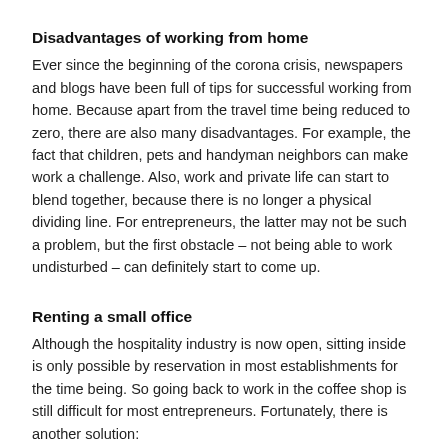Disadvantages of working from home
Ever since the beginning of the corona crisis, newspapers and blogs have been full of tips for successful working from home. Because apart from the travel time being reduced to zero, there are also many disadvantages. For example, the fact that children, pets and handyman neighbors can make work a challenge. Also, work and private life can start to blend together, because there is no longer a physical dividing line. For entrepreneurs, the latter may not be such a problem, but the first obstacle – not being able to work undisturbed – can definitely start to come up.
Renting a small office
Although the hospitality industry is now open, sitting inside is only possible by reservation in most establishments for the time being. So going back to work in the coffee shop is still difficult for most entrepreneurs. Fortunately, there is another solution: